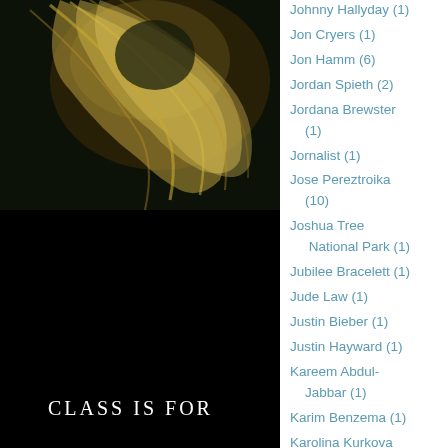[Figure (photo): Book cover showing a close-up photo of blonde hair against a dark/black background. At the bottom, partial text reads 'CLASS IS FOR...' in white serif letters.]
Johnny Hallyday (1)
Jon Cryers (1)
Jon Hamm (6)
Jordan Spieth (2)
Jordana Brewster (1)
Jornalist (1)
Jose Pereztroika (10)
Joshua Tree National Park (1)
Jubilee Bracelett (1)
Jude Law (1)
Justin Bieber (1)
Justin Hayward (1)
Kareem Abdul-Jabbar (1)
Karim Benzema (1)
Karolina Kurkova (1)
Kate Jackson (1)